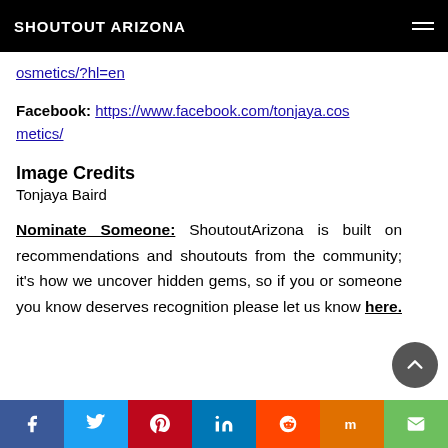SHOUTOUT ARIZONA
osmetics/?hl=en
Facebook: https://www.facebook.com/tonjaya.cosmetics/
Image Credits
Tonjaya Baird
Nominate Someone: ShoutoutArizona is built on recommendations and shoutouts from the community; it's how we uncover hidden gems, so if you or someone you know deserves recognition please let us know here.